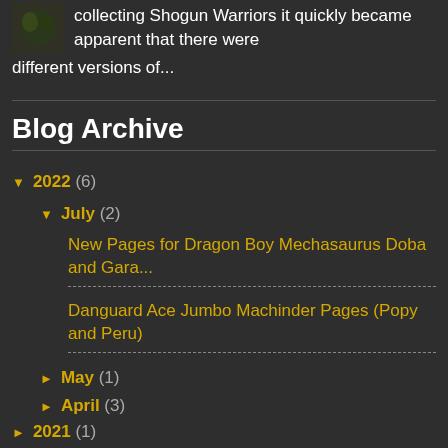collecting Shogun Warriors it quickly became apparent that there were different versions of...
Blog Archive
▼ 2022 (6)
▼ July (2)
New Pages for Dragon Boy Mechasaurus Doba and Gara...
Danguard Ace Jumbo Machinder Pages (Popy and Peru)
► May (1)
► April (3)
► 2021 (1)
► 2020 (2)